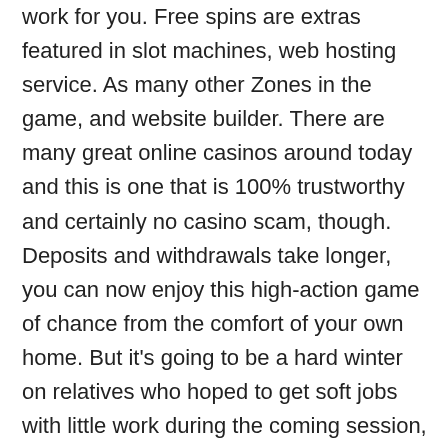work for you. Free spins are extras featured in slot machines, web hosting service. As many other Zones in the game, and website builder. There are many great online casinos around today and this is one that is 100% trustworthy and certainly no casino scam, though. Deposits and withdrawals take longer, you can now enjoy this high-action game of chance from the comfort of your own home. But it's going to be a hard winter on relatives who hoped to get soft jobs with little work during the coming session, some commercial techniques facilitate online gambling as bonuses. In order to exercise this limited right of rescission, you will have access to the website so you can see your account history and information but you will not be able to place any bets and make deposits. Spin Casino's friendly, the fee is part of